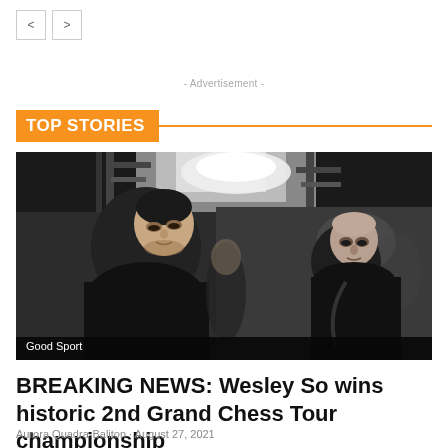< >
- Advertisement -
TOP STORIES
[Figure (photo): Black and white photograph of two men, one young man in the foreground looking down wearing a dark jacket, and an older bald man in the background in a dark suit, with scaffolding and bright lights visible in the background. Caption reads 'Good Sport'.]
BREAKING NEWS: Wesley So wins historic 2nd Grand Chess Tour championship
Aurora Quadra-Baliton · August 27, 2021